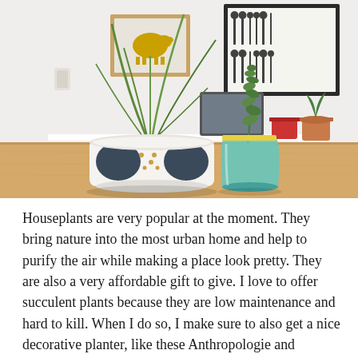[Figure (photo): Two potted houseplants on a wooden table. Left: a grass-like plant in a white ceramic pot with dark navy oval/leaf shapes and gold polka dots. Right: a succulent in a turquoise/mint glass cup with a yellow rim. Background shows a white shelving unit with framed art prints (a pig illustration in a wood frame, a cutlery pattern print) and a small terracotta pot and red container.]
Houseplants are very popular at the moment. They bring nature into the most urban home and help to purify the air while making a place look pretty. They are also a very affordable gift to give. I love to offer succulent plants because they are low maintenance and hard to kill. When I do so, I make sure to also get a nice decorative planter, like these Anthropologie and